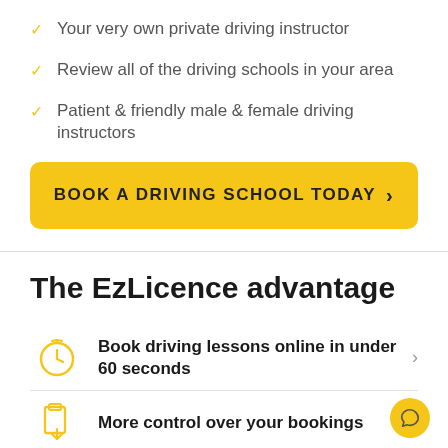Your very own private driving instructor
Review all of the driving schools in your area
Patient & friendly male & female driving instructors
BOOK A DRIVING SCHOOL TODAY >
The EzLicence advantage
Book driving lessons online in under 60 seconds
More control over your bookings